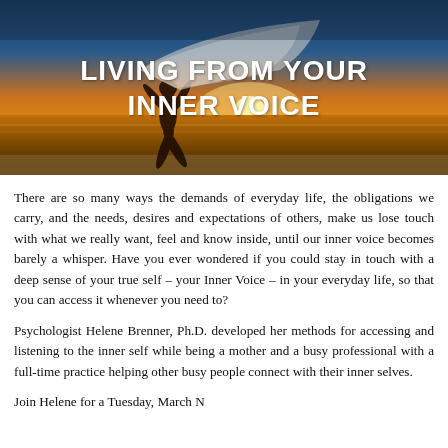[Figure (photo): Person silhouetted against a sunset on a beach, running and holding a flowing white fabric overhead. Text overlay reads 'LIVING FROM YOUR INNER VOICE'.]
There are so many ways the demands of everyday life, the obligations we carry, and the needs, desires and expectations of others, make us lose touch with what we really want, feel and know inside, until our inner voice becomes barely a whisper. Have you ever wondered if you could stay in touch with a deep sense of your true self – your Inner Voice – in your everyday life, so that you can access it whenever you need to?
Psychologist Helene Brenner, Ph.D. developed her methods for accessing and listening to the inner self while being a mother and a busy professional with a full-time practice helping other busy people connect with their inner selves.